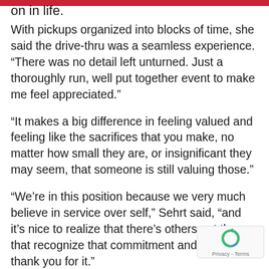on in life.
With pickups organized into blocks of time, she said the drive-thru was a seamless experience. “There was no detail left unturned. Just a thoroughly run, well put together event to make me feel appreciated.”
“It makes a big difference in feeling valued and feeling like the sacrifices that you make, no matter how small they are, or insignificant they may seem, that someone is still valuing those.”
“We’re in this position because we very much believe in service over self,” Sehrt said, “and it’s nice to realize that there’s others out there that recognize that commitment and want to thank you for it.”
Visit Serving Heroes to learn more about the Gary Sinise Foundation program.
[Figure (other): reCAPTCHA privacy badge with rotating arrows icon and Privacy - Terms text]